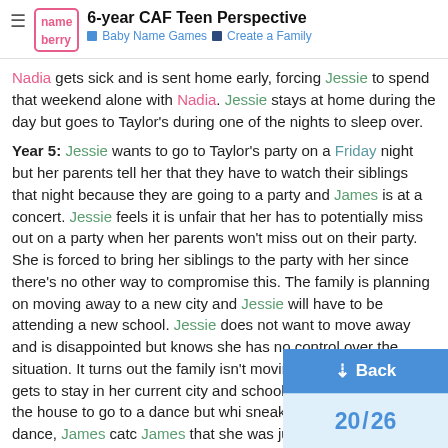6-year CAF Teen Perspective | Baby Name Games | Create a Family
Nadia gets sick and is sent home early, forcing Jessie to spend that weekend alone with Nadia. Jessie stays at home during the day but goes to Taylor's during one of the nights to sleep over.
Year 5: Jessie wants to go to Taylor's party on a Friday night but her parents tell her that they have to watch their siblings that night because they are going to a party and James is at a concert. Jessie feels it is unfair that her has to potentially miss out on a party when her parents won't miss out on their party. She is forced to bring her siblings to the party with her since there's no other way to compromise this. The family is planning on moving away to a new city and Jessie will have to be attending a new school. Jessie does not want to move away and is disappointed but knows she has no control over the situation. It turns out the family isn't moving away and Jessie gets to stay in her current city and school. Jessie [partially obscured] snuck out of the house to go to a dance but whi[le trying to] sneak back in after the dance, James catc[hes her and tells] James that she was just returning from a s[leep over].